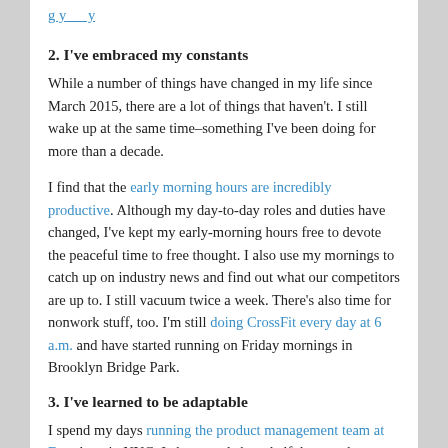[link: early morning hours are incredibly productive]
2. I've embraced my constants
While a number of things have changed in my life since March 2015, there are a lot of things that haven't. I still wake up at the same time–something I've been doing for more than a decade.
I find that the early morning hours are incredibly productive. Although my day-to-day roles and duties have changed, I've kept my early-morning hours free to devote the peaceful time to free thought. I also use my mornings to catch up on industry news and find out what our competitors are up to. I still vacuum twice a week. There's also time for nonwork stuff, too. I'm still doing CrossFit every day at 6 a.m. and have started running on Friday mornings in Brooklyn Bridge Park.
3. I've learned to be adaptable
I spend my days running the product management team at Fuze here in NYC. I also spend about half the month